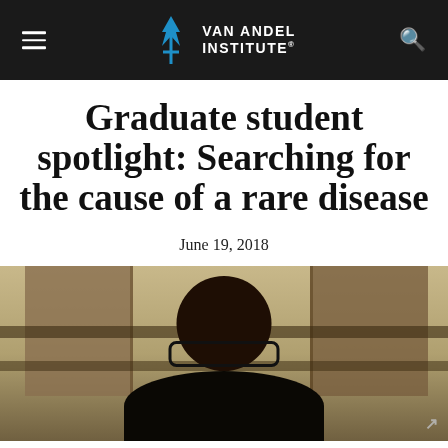Van Andel Institute
Graduate student spotlight: Searching for the cause of a rare disease
June 19, 2018
[Figure (photo): Photo of a graduate student wearing glasses, seated, with bookshelves or office furniture in the background]